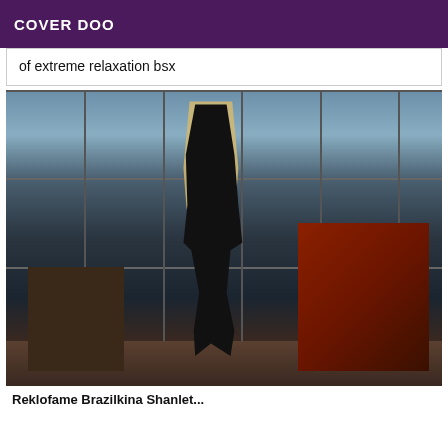COVER DOO
of extreme relaxation bsx
[Figure (photo): A blonde woman in dark lingerie and stockings standing in front of large floor-to-ceiling windows with a scenic mountain and water view, with modern chairs nearby]
Reklofame Brazilkina Shanlet...